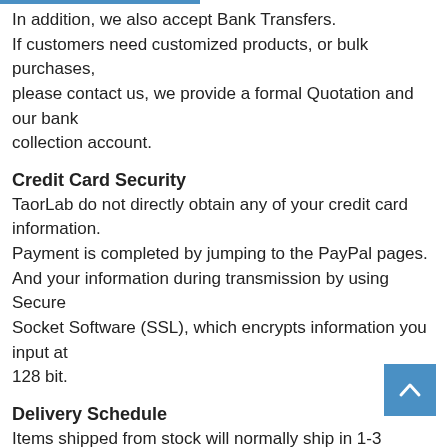In addition, we also accept Bank Transfers.
If customers need customized products, or bulk purchases, please contact us, we provide a formal Quotation and our bank collection account.
Credit Card Security
TaorLab do not directly obtain any of your credit card information.
Payment is completed by jumping to the PayPal pages.
And your information during transmission by using Secure Socket Software (SSL), which encrypts information you input at 128 bit.
Delivery Schedule
Items shipped from stock will normally ship in 1-3 business days.
For products that need to be customized, each delivery cycle is different, we will notify you of the specific delivery date after confirming your demand and quantity.
For products that are on back order, we will contact you with an estimated lead time. Our shipping dates are based on